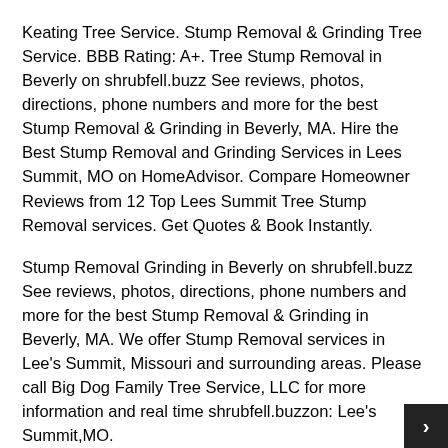Keating Tree Service. Stump Removal & Grinding Tree Service. BBB Rating: A+. Tree Stump Removal in Beverly on shrubfell.buzz See reviews, photos, directions, phone numbers and more for the best Stump Removal & Grinding in Beverly, MA. Hire the Best Stump Removal and Grinding Services in Lees Summit, MO on HomeAdvisor. Compare Homeowner Reviews from 12 Top Lees Summit Tree Stump Removal services. Get Quotes & Book Instantly.
Stump Removal Grinding in Beverly on shrubfell.buzz See reviews, photos, directions, phone numbers and more for the best Stump Removal & Grinding in Beverly, MA. We offer Stump Removal services in Lee's Summit, Missouri and surrounding areas. Please call Big Dog Family Tree Service, LLC for more information and real time shrubfell.buzzon: Lee's Summit,MO.
Stump Removal Grinding in Beverly Village on shrubfell.buzz See reviews, photos, directions, phone numbers and more for the best Stump Removal & Grinding in.
Improving Soil Structure of Sand...